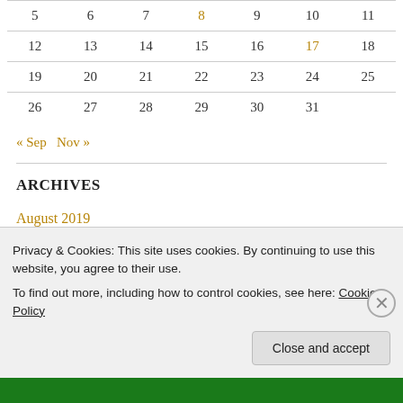| 5 | 6 | 7 | 8 | 9 | 10 | 11 |
| 12 | 13 | 14 | 15 | 16 | 17 | 18 |
| 19 | 20 | 21 | 22 | 23 | 24 | 25 |
| 26 | 27 | 28 | 29 | 30 | 31 |  |
« Sep   Nov »
ARCHIVES
August 2019
Privacy & Cookies: This site uses cookies. By continuing to use this website, you agree to their use.
To find out more, including how to control cookies, see here: Cookie Policy
Close and accept